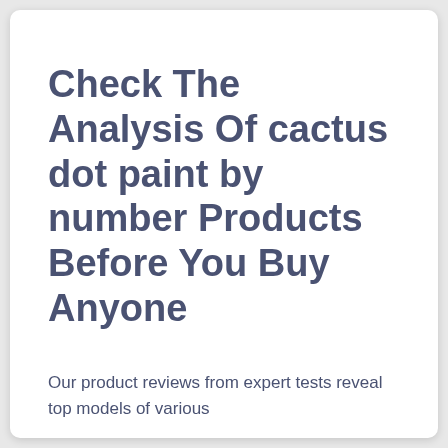Check The Analysis Of cactus dot paint by number Products Before You Buy Anyone
Our product reviews from expert tests reveal top models of various